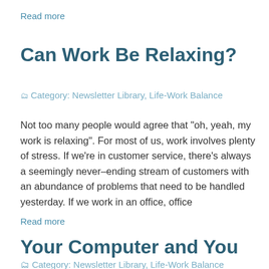Read more
Can Work Be Relaxing?
🗂 Category: Newsletter Library, Life-Work Balance
Not too many people would agree that "oh, yeah, my work is relaxing". For most of us, work involves plenty of stress. If we're in customer service, there's always a seemingly never-ending stream of customers with an abundance of problems that need to be handled yesterday. If we work in an office, office
Read more
Your Computer and You
🗂 Category: Newsletter Library, Life-Work Balance